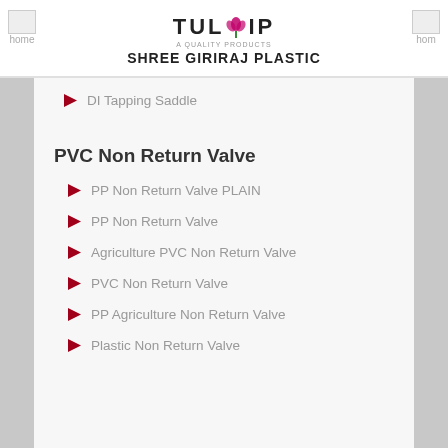TULIP - SHREE GIRIRAJ PLASTIC
DI Tapping Saddle
PVC Non Return Valve
PP Non Return Valve PLAIN
PP Non Return Valve
Agriculture PVC Non Return Valve
PVC Non Return Valve
PP Agriculture Non Return Valve
Plastic Non Return Valve